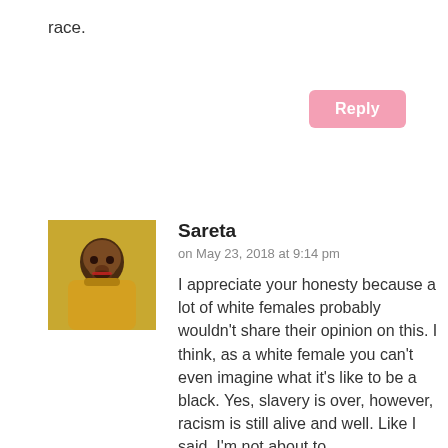race.
Reply
[Figure (photo): Profile photo of commenter Sareta, a young woman in a yellow jacket with mouth open]
Sareta
on May 23, 2018 at 9:14 pm
I appreciate your honesty because a lot of white females probably wouldn't share their opinion on this. I think, as a white female you can't even imagine what it's like to be a black. Yes, slavery is over, however, racism is still alive and well. Like I said, I'm not about to